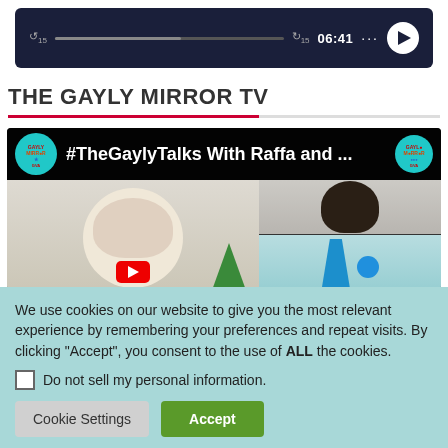[Figure (screenshot): Audio player bar with dark navy background, rewind 15s icon, progress bar, forward 15s icon, time display 06:41, dots menu, and white circular play button]
THE GAYLY MIRROR TV
[Figure (screenshot): YouTube video thumbnail showing #TheGaylyTalks With Raffa and ... with Gayly Mirror TV channel logo on left and right, video preview showing faces of two people and a teal object]
We use cookies on our website to give you the most relevant experience by remembering your preferences and repeat visits. By clicking “Accept”, you consent to the use of ALL the cookies.
Do not sell my personal information.
Cookie Settings
Accept